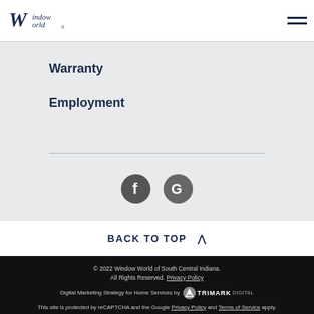Window World logo and navigation hamburger menu
Warranty
Employment
[Figure (other): Social media icons: Facebook (F) and Google (G) circular dark grey buttons]
BACK TO TOP ^
© 2022 Window World of South Central Indiana. All Rights Reserved. Privacy Policy
Digital Marketing Strategy for Home Services by TRIMARK DIGITAL
This site is protected by reCAPTCHA and the Google Privacy Policy and Terms of Service apply.